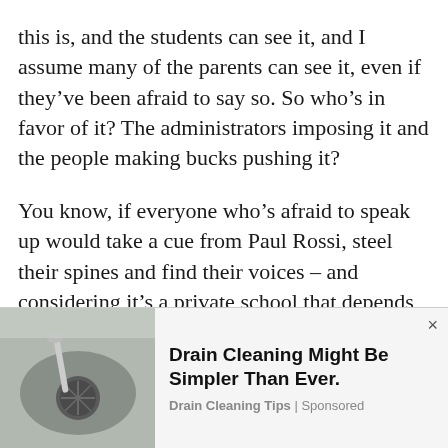this is, and the students can see it, and I assume many of the parents can see it, even if they've been afraid to say so. So who's in favor of it? The administrators imposing it and the people making bucks pushing it?
You know, if everyone who's afraid to speak up would take a cue from Paul Rossi, steel their spines and find their voices – and considering it's a private school that depends on parents writing tuition checks – how hard would it be to replace the administrators and activists
[Figure (photo): Advertisement showing a sink drain, for 'Drain Cleaning Might Be Simpler Than Ever.' sponsored by Drain Cleaning Tips]